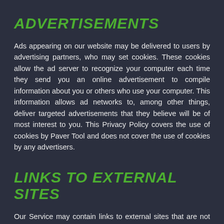ADVERTISEMENTS
Ads appearing on our website may be delivered to users by advertising partners, who may set cookies. These cookies allow the ad server to recognize your computer each time they send you an online advertisement to compile information about you or others who use your computer. This information allows ad networks to, among other things, deliver targeted advertisements that they believe will be of most interest to you. This Privacy Policy covers the use of cookies by Paver Tool and does not cover the use of cookies by any advertisers.
LINKS TO EXTERNAL SITES
Our Service may contain links to external sites that are not operated by us. If you click on a third party link, you will be directed to that third party's site. We strongly advise you to review the Privacy Policy and Terms and Conditions of every site you visit.